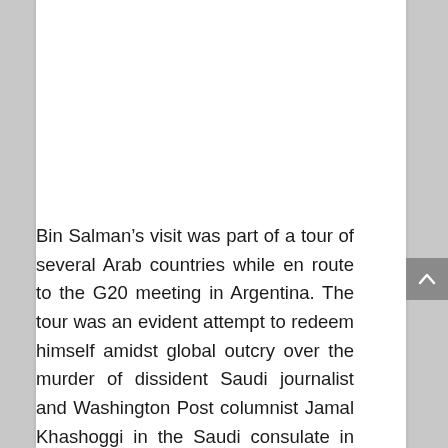Bin Salman’s visit was part of a tour of several Arab countries while en route to the G20 meeting in Argentina. The tour was an evident attempt to redeem himself amidst global outcry over the murder of dissident Saudi journalist and Washington Post columnist Jamal Khashoggi in the Saudi consulate in Istanbul, a crime widely attributed to the crown prince himself.